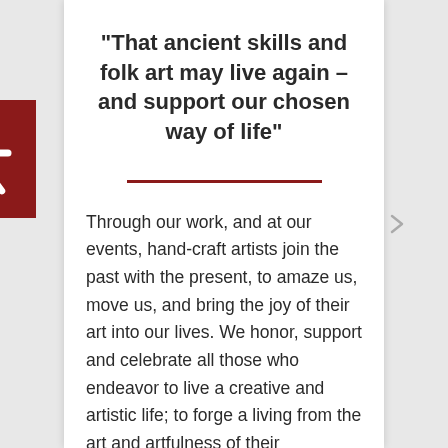“That ancient skills and folk art may live again – and support our chosen way of life”
Through our work, and at our events, hand-craft artists join the past with the present, to amaze us, move us, and bring the joy of their art into our lives. We honor, support and celebrate all those who endeavor to live a creative and artistic life; to forge a living from the art and artfulness of their